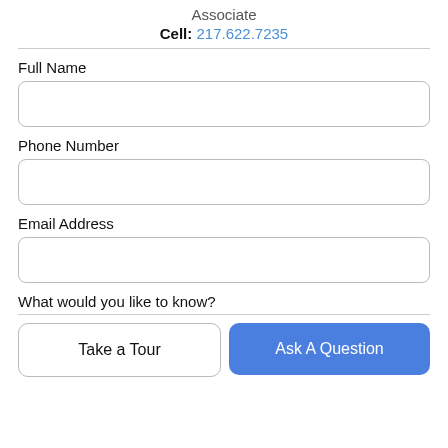Associate
Cell: 217.622.7235
Full Name
Phone Number
Email Address
What would you like to know?
Take a Tour
Ask A Question